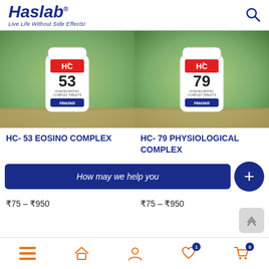Haslab® Live Life Without Side Effects!
[Figure (photo): HC-53 Eosino Complex homeopathic tablet bottle on wooden surface with green bokeh background]
[Figure (photo): HC-79 Physiological Complex homeopathic tablet bottle on wooden surface with green bokeh background]
HC- 53 EOSINO COMPLEX
HC- 79 PHYSIOLOGICAL COMPLEX
How may we help you
₹75 – ₹950
₹75 – ₹950
Bottom navigation bar with menu, home, account, wishlist (1), cart (0) icons